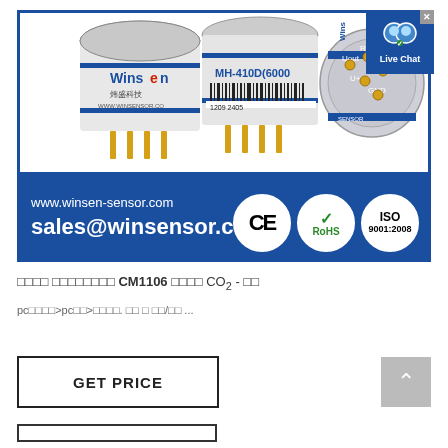[Figure (photo): Winsen sensor product banner showing three MH-410D CO2 sensors (cylindrical, blue-labeled with gold pins), CE, RoHS, ISO 9001:2008 certification logos, website www.winsen-sensor.com and email sales@winsensor.com on blue background. Live Chat button overlay top-right.]
윈센 이산화탄소 CM1106 센서와 CO2 - 구매
pc부품쇼핑>pc부품>이산화탄소. 구매 및 판매/판매 ...
GET PRICE